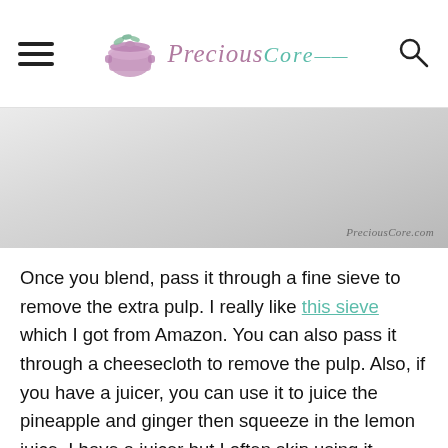Precious Core
[Figure (photo): Partial food/drink preparation photo with PreciousCore.com watermark in lower right corner, light grey and white tones]
Once you blend, pass it through a fine sieve to remove the extra pulp. I really like this sieve which I got from Amazon. You can also pass it through a cheesecloth to remove the pulp. Also, if you have a juicer, you can use it to juice the pineapple and ginger then squeeze in the lemon juice. I have a juicer but I often skip using it because that stuff is a lot of work to clean